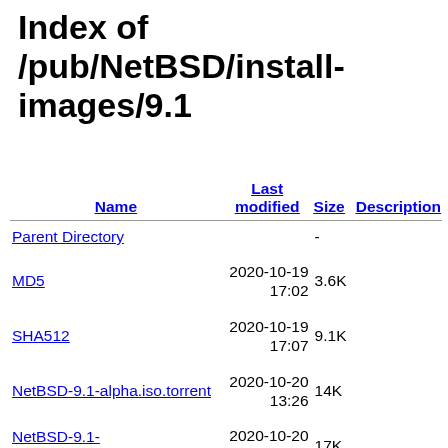Index of /pub/NetBSD/install-images/9.1
| Name | Last modified | Size | Description |
| --- | --- | --- | --- |
| Parent Directory |  | - |  |
| MD5 | 2020-10-19 17:02 | 3.6K |  |
| SHA512 | 2020-10-19 17:07 | 9.1K |  |
| NetBSD-9.1-alpha.iso.torrent | 2020-10-20 13:26 | 14K |  |
| NetBSD-9.1-luna68k.iso.torrent | 2020-10-20 13:28 | 17K |  |
| NetBSD-9.1-news68k.iso.torrent | 2020-10-20 13:28 | 17K |  |
| NetBSD-9.1-hp300.iso.torrent | 2020-10-20 13:27 | 17K |  |
| NetBSD-9.1-x68k.iso.torrent | 2020-10-20 | 17K |  |